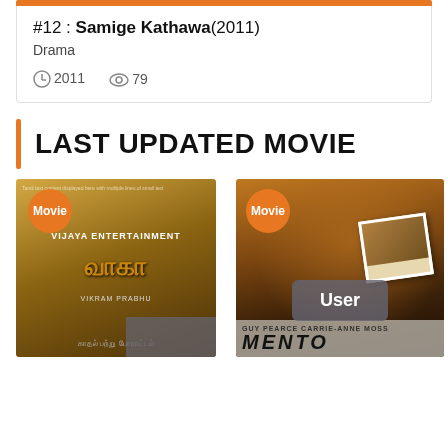#12 : Samige Kathawa(2011)
Drama
2011  79
LAST UPDATED MOVIE
[Figure (photo): Tamil movie poster for Vaaga (2011) with golden/sepia tones, showing faces and Tamil script text, with an orange 'Movie' badge]
[Figure (photo): Memento movie poster showing a man's face and a Polaroid photograph, with orange 'Movie' badge and 'User' overlay at bottom]